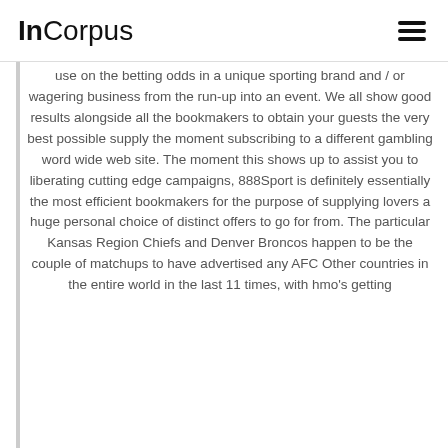InCorpus
use on the betting odds in a unique sporting brand and / or wagering business from the run-up into an event. We all show good results alongside all the bookmakers to obtain your guests the very best possible supply the moment subscribing to a different gambling word wide web site. The moment this shows up to assist you to liberating cutting edge campaigns, 888Sport is definitely essentially the most efficient bookmakers for the purpose of supplying lovers a huge personal choice of distinct offers to go for from. The particular Kansas Region Chiefs and Denver Broncos happen to be the couple of matchups to have advertised any AFC Other countries in the entire world in the last 11 times, with hmo's getting